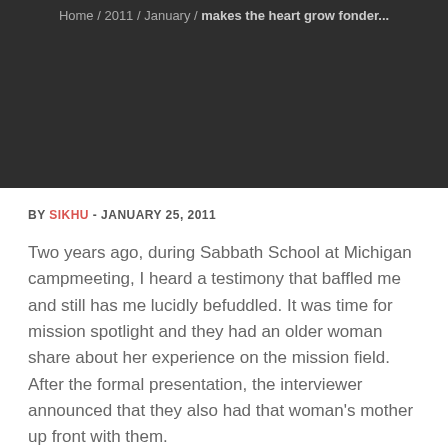Home / 2011 / January / makes the heart grow fonder...
BY SIKHU - JANUARY 25, 2011
Two years ago, during Sabbath School at Michigan campmeeting, I heard a testimony that baffled me and still has me lucidly befuddled. It was time for mission spotlight and they had an older woman share about her experience on the mission field. After the formal presentation, the interviewer announced that they also had that woman's mother up front with them.